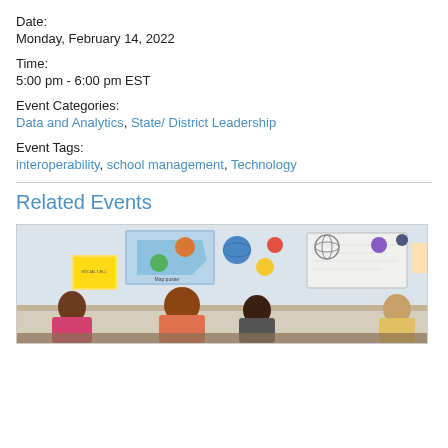Date:
Monday, February 14, 2022
Time:
5:00 pm - 6:00 pm EST
Event Categories:
Data and Analytics, State/ District Leadership
Event Tags:
interoperability, school management, Technology
Related Events
[Figure (photo): A classroom scene showing a teacher and students with educational decorations including a US map, planet models, and a whiteboard]